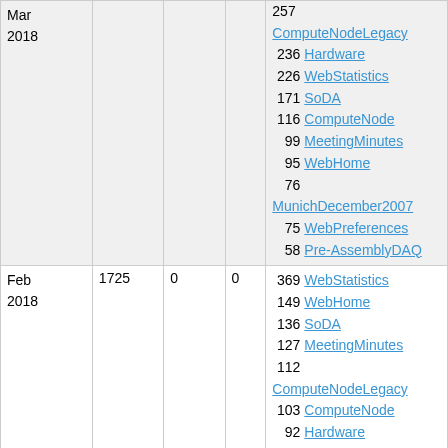| Month | Views | Col3 | Col4 | Top Pages |
| --- | --- | --- | --- | --- |
| Mar 2018 |  | 0 | 0 | 257 ComputeNodeLegacy
236 Hardware
226 WebStatistics
171 SoDA
116 ComputeNode
99 MeetingMinutes
95 WebHome
76 MunichDecember2007
75 WebPreferences
58 Pre-AssemblyDAQ |
| Feb 2018 | 1725 | 0 | 0 | 369 WebStatistics
149 WebHome
136 SoDA
127 MeetingMinutes
112 ComputeNodeLegacy
103 ComputeNode
92 Hardware
75 WebPreferences
67 WebNotify
65 Pre-AssemblyDAQ |